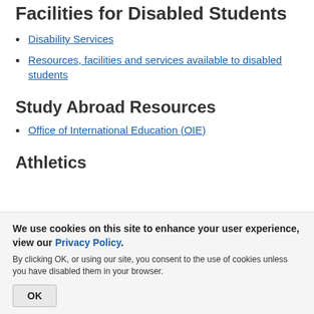Facilities for Disabled Students
Disability Services
Resources, facilities and services available to disabled students
Study Abroad Resources
Office of International Education (OIE)
Athletics
We use cookies on this site to enhance your user experience, view our Privacy Policy.
By clicking OK, or using our site, you consent to the use of cookies unless you have disabled them in your browser.